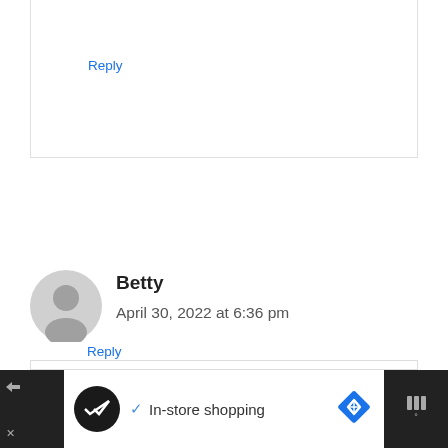Reply
Betty
April 30, 2022 at 6:36 pm
Hi, I have so many weeds in my drawf mondo grass lawn. Is there a safe weed killer I can use?
Reply
In-store shopping